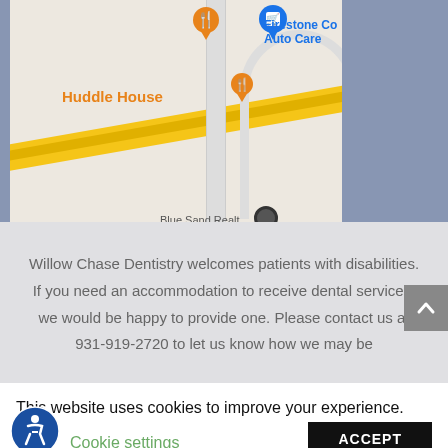[Figure (map): Google Maps screenshot showing area near Willow Chase Dentistry with landmarks including Huddle House (orange pin), Firestone Complete Auto Care (blue pin), road intersection with yellow highway, and a gray location marker labeled Blue Sand Realty]
Willow Chase Dentistry welcomes patients with disabilities. If you need an accommodation to receive dental services, we would be happy to provide one. Please contact us at 931-919-2720 to let us know how we may be
This website uses cookies to improve your experience. We'll assume you're ok with this, but you can opt-out if you wish.
Cookie settings
ACCEPT